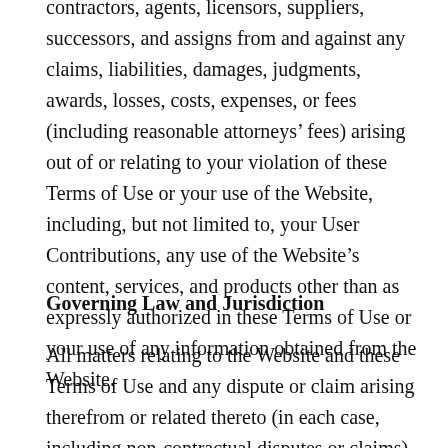contractors, agents, licensors, suppliers, successors, and assigns from and against any claims, liabilities, damages, judgments, awards, losses, costs, expenses, or fees (including reasonable attorneys' fees) arising out of or relating to your violation of these Terms of Use or your use of the Website, including, but not limited to, your User Contributions, any use of the Website's content, services, and products other than as expressly authorized in these Terms of Use or your use of any information obtained from the Website.
Governing Law and Jurisdiction
All matters relating to the Website and these Terms of Use and any dispute or claim arising therefrom or related thereto (in each case, including non-contractual disputes or claims), shall be governed by and construed in accordance